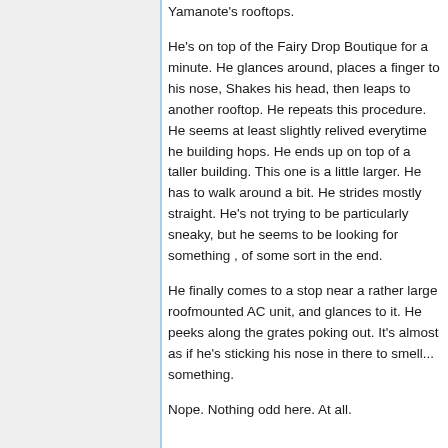Yamanote's rooftops.
He's on top of the Fairy Drop Boutique for a minute. He glances around, places a finger to his nose, Shakes his head, then leaps to another rooftop. He repeats this procedure. He seems at least slightly relived everytime he building hops. He ends up on top of a taller building. This one is a little larger. He has to walk around a bit. He strides mostly straight. He's not trying to be particularly sneaky, but he seems to be looking for something , of some sort in the end.
He finally comes to a stop near a rather large roofmounted AC unit, and glances to it. He peeks along the grates poking out. It's almost as if he's sticking his nose in there to smell... something.
Nope. Nothing odd here. At all.